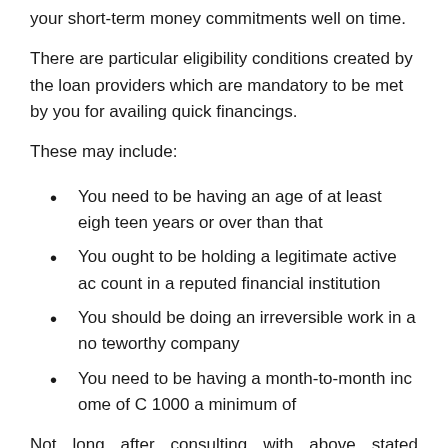your short-term money commitments well on time.
There are particular eligibility conditions created by the loan providers which are mandatory to be met by you for availing quick financings.
These may include:
You need to be having an age of at least eighteen years or over than that
You ought to be holding a legitimate active account in a reputed financial institution
You should be doing an irreversible work in a noteworthy company
You need to be having a month-to-month income of C 1000 a minimum of
Not long after consulting with above stated qualification conditions you obtain the freedom to